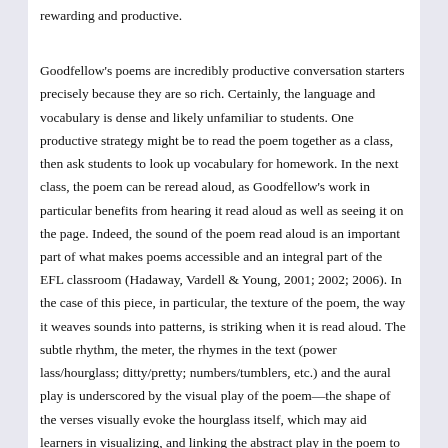rewarding and productive.
Goodfellow's poems are incredibly productive conversation starters precisely because they are so rich. Certainly, the language and vocabulary is dense and likely unfamiliar to students. One productive strategy might be to read the poem together as a class, then ask students to look up vocabulary for homework. In the next class, the poem can be reread aloud, as Goodfellow's work in particular benefits from hearing it read aloud as well as seeing it on the page. Indeed, the sound of the poem read aloud is an important part of what makes poems accessible and an integral part of the EFL classroom (Hadaway, Vardell & Young, 2001; 2002; 2006). In the case of this piece, in particular, the texture of the poem, the way it weaves sounds into patterns, is striking when it is read aloud. The subtle rhythm, the meter, the rhymes in the text (power lass/hourglass; ditty/pretty; numbers/tumblers, etc.) and the aural play is underscored by the visual play of the poem—the shape of the verses visually evoke the hourglass itself, which may aid learners in visualizing, and linking the abstract play in the poem to the concrete idea of an hourglass (Mills, 2009).